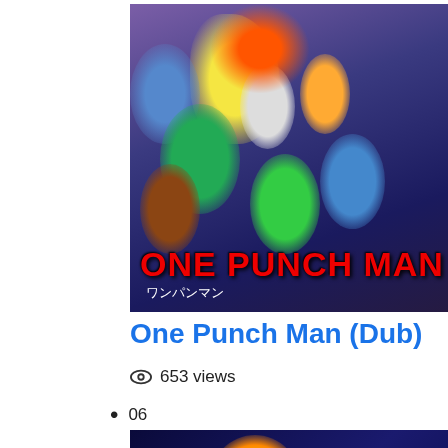[Figure (photo): One Punch Man anime poster showing multiple characters including the main character Saitama in yellow suit, with red bold text 'ONE PUNCH MAN' and Japanese text at the bottom]
One Punch Man (Dub)
653 views
06
[Figure (photo): Anime scene showing a red rocket or spacecraft flying through space with an explosion/energy burst effect]